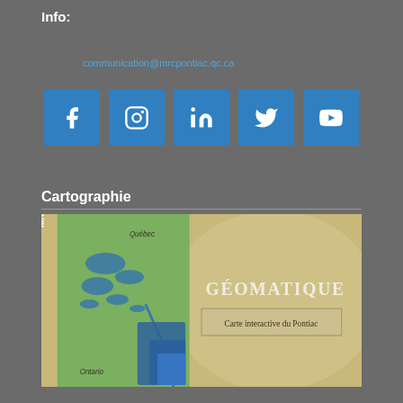Info:
communication@mrcpontiac.qc.ca
[Figure (infographic): Row of 5 social media icons on blue square backgrounds: Facebook (f), Instagram (camera), LinkedIn (in), Twitter (bird), YouTube (play button)]
Cartographie
[Figure (map): MRC Pontiac interactive map banner. Left side shows a satellite/topographic map of the Pontiac region with green terrain, blue lakes and waterways, and blue municipal territory polygons. Labels show Québec to the east and Ontario to the south. The vertical text reads MRC PONTIAC. Right side on sandy/beige background shows the text GÉOMATIQUE in bold serif and a button labeled Carte interactive du Pontiac.]